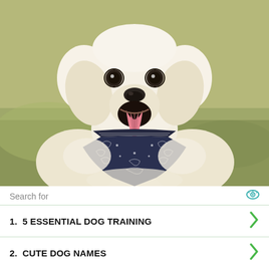[Figure (photo): A white/cream fluffy golden retriever dog sitting outdoors wearing a dark navy blue bandana with white paisley pattern. The dog has its mouth open and tongue out, looking at the camera. Background is blurred grass/greenery.]
Search for
1.  5 ESSENTIAL DOG TRAINING
2.  CUTE DOG NAMES